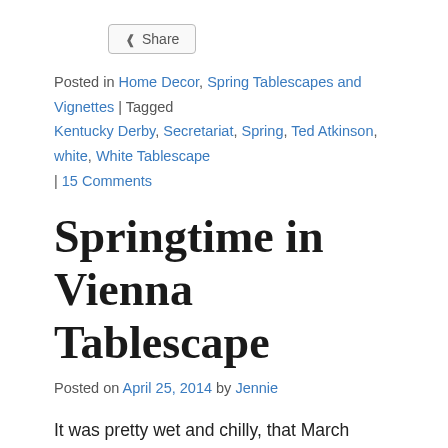< Share
Posted in Home Decor, Spring Tablescapes and Vignettes | Tagged Kentucky Derby, Secretariat, Spring, Ted Atkinson, white, White Tablescape | 15 Comments
Springtime in Vienna Tablescape
Posted on April 25, 2014 by Jennie
It was pretty wet and chilly, that March spring break in Austria eleven years ago — my first trip to Europe. That doesn't keep me from thinking about Vienna and Salzburg when I think spring. The pansies were profusely blooming and there were flowers and trees